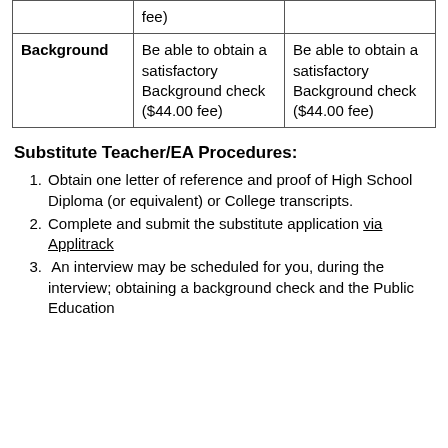|  |  |  |
| --- | --- | --- |
|  | fee) |  |
| Background | Be able to obtain a satisfactory Background check ($44.00 fee) | Be able to obtain a satisfactory Background check ($44.00 fee) |
Substitute Teacher/EA Procedures:
Obtain one letter of reference and proof of High School Diploma (or equivalent) or College transcripts.
Complete and submit the substitute application via Applitrack
An interview may be scheduled for you, during the interview; obtaining a background check and the Public Education